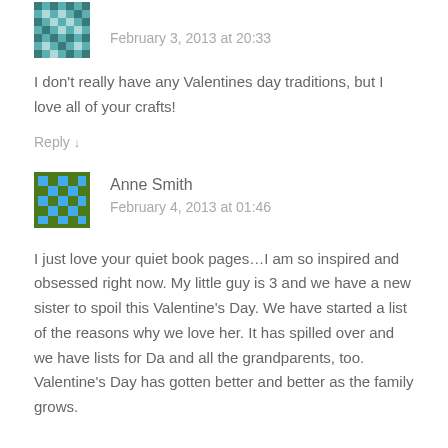February 3, 2013 at 20:33
I don't really have any Valentines day traditions, but I love all of your crafts!
Reply ↓
Anne Smith
February 4, 2013 at 01:46
I just love your quiet book pages…I am so inspired and obsessed right now. My little guy is 3 and we have a new sister to spoil this Valentine's Day. We have started a list of the reasons why we love her. It has spilled over and we have lists for Da and all the grandparents, too. Valentine's Day has gotten better and better as the family grows.